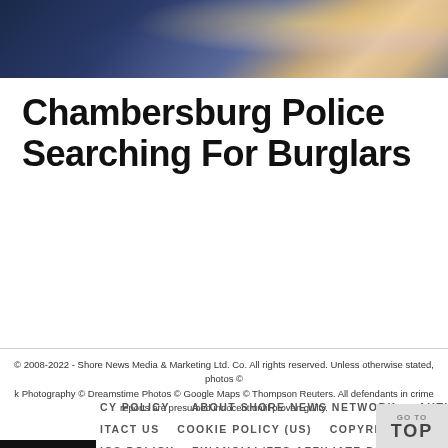[Figure (photo): Blurred night-scene header photo with bokeh lights in blue, gold and purple tones]
Chambersburg Police Searching For Burglars
© 2008-2022 - Shore News Media & Marketing Ltd. Co. All rights reserved. Unless otherwise stated, photos © k Photography © Dreamstime Photos © Google Maps © Thompson Reuters. All defendants in crime reports are presumed innocent until proven guilty.
CY POLICY    ABOUT SHORE NEWS NETWORK    AUTHORS LIST
ITACT US    COOKIE POLICY (US)    COPYRIGHT & TRADEMARK
ICS POLICY    FINANCIAL/FTC AFFILIATE DISCLOSURE
OGLE ADSENSE TERMS OF SERVICE